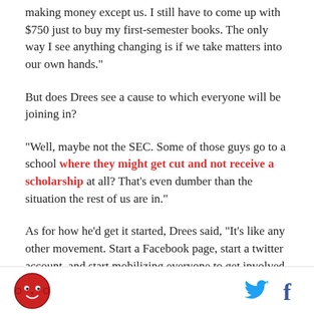making money except us. I still have to come up with $750 just to buy my first-semester books. The only way I see anything changing is if we take matters into our own hands."
But does Drees see a cause to which everyone will be joining in?
"Well, maybe not the SEC. Some of those guys go to a school where they might get cut and not receive a scholarship at all? That's even dumber than the situation the rest of us are in."
As for how he'd get it started, Drees said, "It's like any other movement. Start a Facebook page, start a twitter account, and start mobilizing everyone to get involved